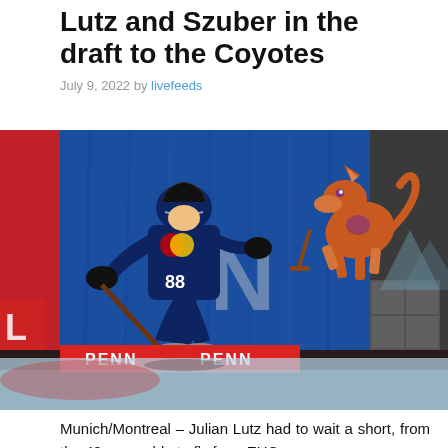Lutz and Szuber in the draft to the Coyotes
July 9, 2022 by livefeeds
[Figure (photo): A hockey player wearing a Red Bull ice hockey jersey (number 8x) skating on ice, with an Arizona Coyotes logo banner in the background and PENN signage visible. The scene appears to be an NHL draft event.]
Munich/Montreal – Julian Lutz had to wait a short, from the 40s was able to fly from EHC...